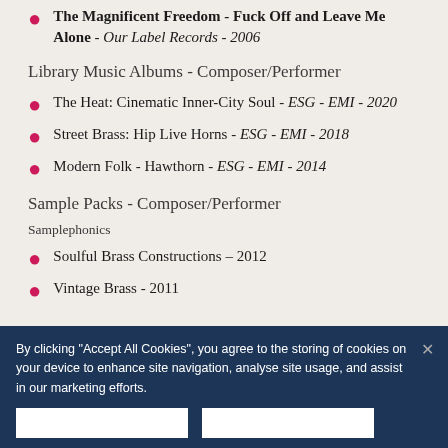The Magnificent Freedom - Fuck Off and Leave Me Alone - Our Label Records - 2006
Library Music Albums - Composer/Performer
The Heat: Cinematic Inner-City Soul - ESG - EMI - 2020
Street Brass: Hip Live Horns - ESG - EMI - 2018
Modern Folk - Hawthorn - ESG - EMI - 2014
Sample Packs - Composer/Performer
Samplephonics
Soulful Brass Constructions – 2012
Vintage Brass - 2011
By clicking "Accept All Cookies", you agree to the storing of cookies on your device to enhance site navigation, analyse site usage, and assist in our marketing efforts.